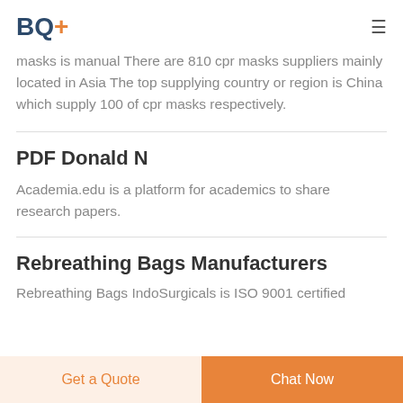BQ+
masks is manual There are 810 cpr masks suppliers mainly located in Asia The top supplying country or region is China which supply 100 of cpr masks respectively.
PDF Donald N
Academia.edu is a platform for academics to share research papers.
Rebreathing Bags Manufacturers
Rebreathing Bags IndoSurgicals is ISO 9001 certified
Get a Quote
Chat Now